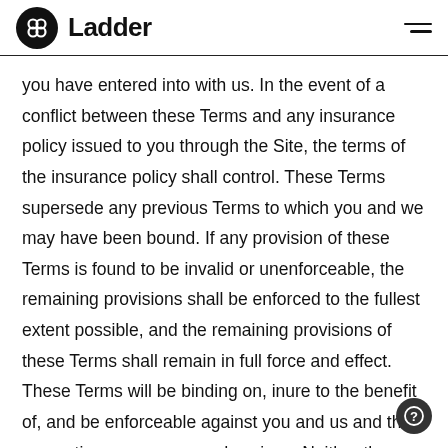Ladder
you have entered into with us. In the event of a conflict between these Terms and any insurance policy issued to you through the Site, the terms of the insurance policy shall control. These Terms supersede any previous Terms to which you and we may have been bound. If any provision of these Terms is found to be invalid or unenforceable, the remaining provisions shall be enforced to the fullest extent possible, and the remaining provisions of these Terms shall remain in full force and effect. These Terms will be binding on, inure to the benefit of, and be enforceable against you and us and their respective successors and assigns. Neither the course of conduct between you and us nor trade practice